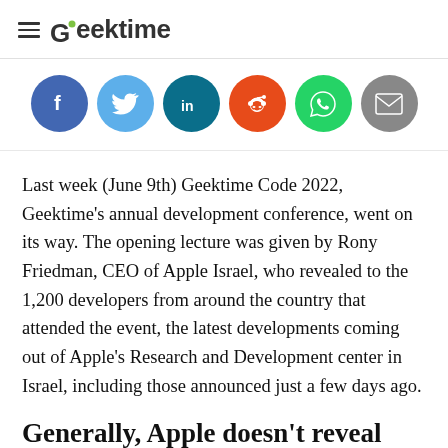Geektime
[Figure (infographic): Social sharing buttons row: Facebook (purple-blue circle), Twitter (light blue circle), LinkedIn (dark teal circle), Reddit (orange-red circle), WhatsApp (green circle), Email (gray circle)]
Last week (June 9th) Geektime Code 2022, Geektime's annual development conference, went on its way. The opening lecture was given by Rony Friedman, CEO of Apple Israel, who revealed to the 1,200 developers from around the country that attended the event, the latest developments coming out of Apple's Research and Development center in Israel, including those announced just a few days ago.
Generally, Apple doesn't reveal